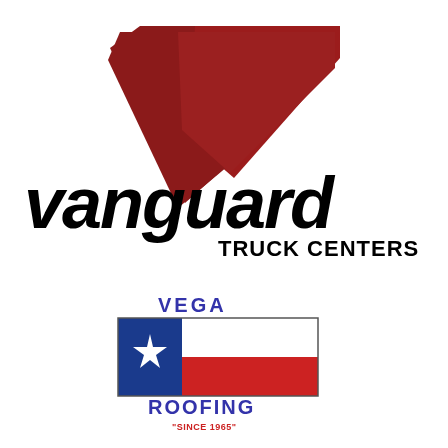[Figure (logo): Vanguard Truck Centers logo: large red check/V mark above bold italic black 'vanguard' wordmark with 'TRUCK CENTERS' in bold black caps below right]
[Figure (logo): Vega Roofing logo: 'VEGA' in blue above Texas flag graphic (blue with white star, white stripe, red stripe), 'ROOFING' in blue below, 'SINCE 1965' in red small text at bottom]